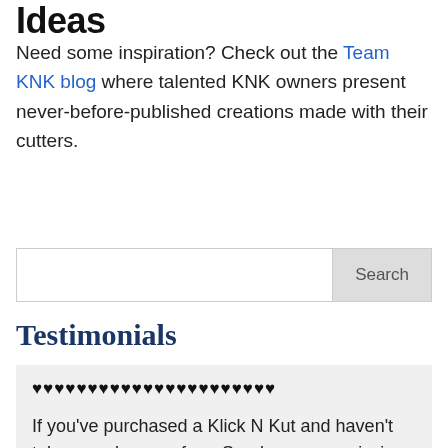Ideas
Need some inspiration? Check out the Team KNK blog where talented KNK owners present never-before-published creations made with their cutters.
Search
Testimonials
♥♥♥♥♥♥♥♥♥♥♥♥♥♥♥♥♥♥♥♥♥♥
If you've purchased a Klick N Kut and haven't taken any lessons from Sandy you are missing out on a entire world of information that can make an incredible